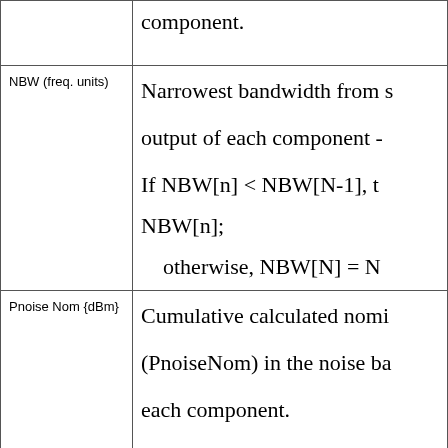| Parameter | Description |
| --- | --- |
|  | component. |
| NBW (freq. units) | Narrowest bandwidth from s output of each component - If NBW[n] < NBW[N-1], t NBW[n]; otherwise, NBW[N] = N |
| Pnoise Nom {dBm} | Cumulative calculated nomi (PnoiseNom) in the noise ba each component. |